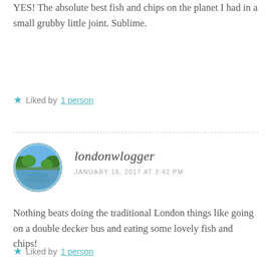YES! The absolute best fish and chips on the planet I had in a small grubby little joint. Sublime.
Liked by 1 person
[Figure (photo): Circular avatar photo of londonwlogger showing a river or lake with trees and blue sky]
londonwlogger
JANUARY 16, 2017 AT 3:42 PM
Nothing beats doing the traditional London things like going on a double decker bus and eating some lovely fish and chips!
Liked by 1 person